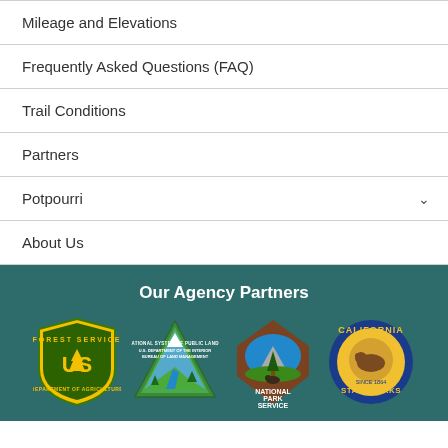Mileage and Elevations
Frequently Asked Questions (FAQ)
Trail Conditions
Partners
Potpourri
About Us
Our Agency Partners
[Figure (logo): US Forest Service shield logo - Department of Agriculture]
[Figure (logo): Bureau of Land Management - National System of Public Lands triangle logo]
[Figure (logo): National Park Service arrowhead logo]
[Figure (logo): California State Parks circular logo since 1864]